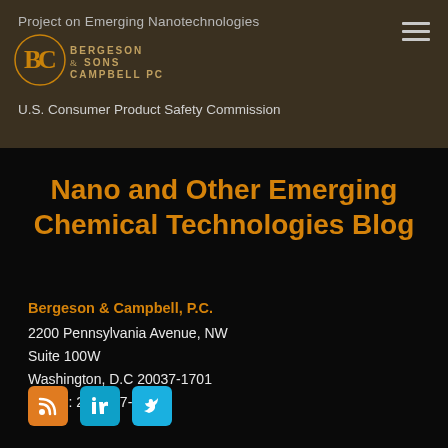Project on Emerging Nanotechnologies
[Figure (logo): Bergeson & Campbell PC logo - BC initials with firm name]
U.S. Consumer Product Safety Commission
Nano and Other Emerging Chemical Technologies Blog
Bergeson & Campbell, P.C.
2200 Pennsylvania Avenue, NW
Suite 100W
Washington, D.C 20037-1701
Phone: 202-557-3800
[Figure (infographic): Social media icons: RSS feed (orange), LinkedIn (blue), Twitter (light blue)]